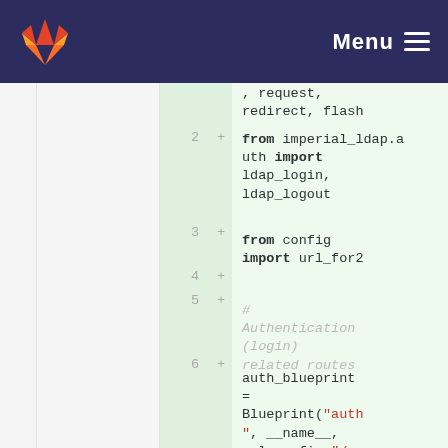GitLab navigation bar with Menu
[Figure (screenshot): GitLab code diff view showing Python import lines with line numbers 2-6 added (green background), including imports for imperial_ldap.auth and Blueprint initialization with url_prefix='/auth']